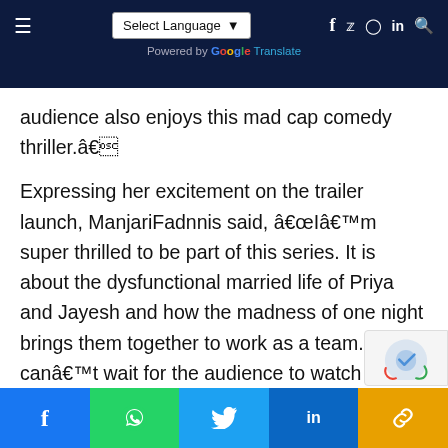Select Language ▾  Powered by Google Translate  [nav icons: f, twitter, instagram, in, search]
audience also enjoys this mad cap comedy thriller.â€
Expressing her excitement on the trailer launch, ManjariFadnnis said, â€œIâ€™m super thrilled to be part of this series. It is about the dysfunctional married life of Priya and Jayesh and how the madness of one night brings them together to work as a team. I canâ€™t wait for the audience to watch it on 1st July. We had such a blast making it, Iâ€™m sure the audience are in for a super fun ride while keeping them at the edge of their seats.â€
f [facebook] [whatsapp] [twitter] in [linkedin] [link]